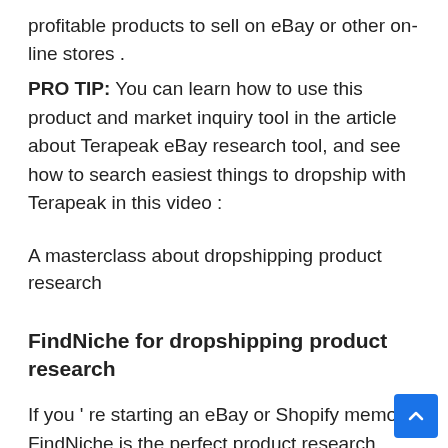profitable products to sell on eBay or other on-line stores .
PRO TIP: You can learn how to use this product and market inquiry tool in the article about Terapeak eBay research tool, and see how to search easiest things to dropship with Terapeak in this video :
A masterclass about dropshipping product research
FindNiche for dropshipping product research
If you ’ re starting an eBay or Shopify memory, FindNiche is the perfect product research joyride for you. It can help you to find recess products to ke...